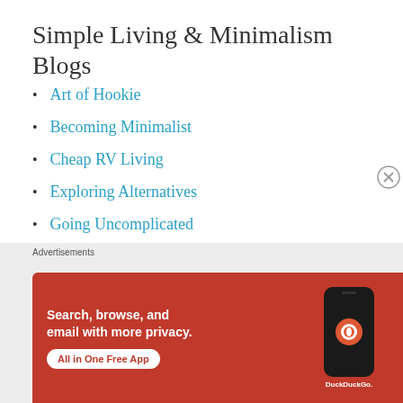Simple Living & Minimalism Blogs
Art of Hookie
Becoming Minimalist
Cheap RV Living
Exploring Alternatives
Going Uncomplicated
Interstellar Orchard
It's Not a Slow Car, It's a Fast House!
[Figure (screenshot): DuckDuckGo advertisement banner with orange background showing 'Search, browse, and email with more privacy. All in One Free App' with phone mockup and DuckDuckGo logo]